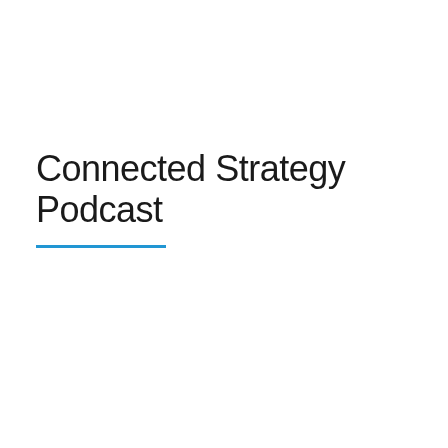Connected Strategy Podcast
[Figure (screenshot): Podcast player card showing 'Mastering Innovation' podcast episode titled 'Companies Can Use Connected Strategies to Engage and Influenc...' dated April 25, 2019, 52 min, with Listen later option, on Acast platform. Dark navy card with thumbnail photo of two men in suits.]